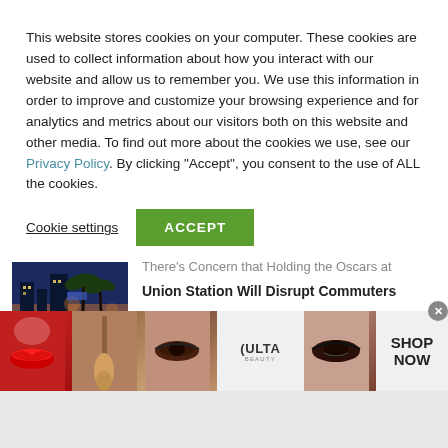This website stores cookies on your computer. These cookies are used to collect information about how you interact with our website and allow us to remember you. We use this information in order to improve and customize your browsing experience and for analytics and metrics about our visitors both on this website and other media. To find out more about the cookies we use, see our Privacy Policy. By clicking "Accept", you consent to the use of ALL the cookies.
Cookie settings | ACCEPT
There's Concern that Holding the Oscars at Union Station Will Disrupt Commuters
A New Rideshare Option Is Coming to
[Figure (photo): Advertisement banner for Ulta Beauty showing makeup imagery — lipstick, makeup brush, eye makeup, Ulta logo, more eye makeup — with SHOP NOW button]